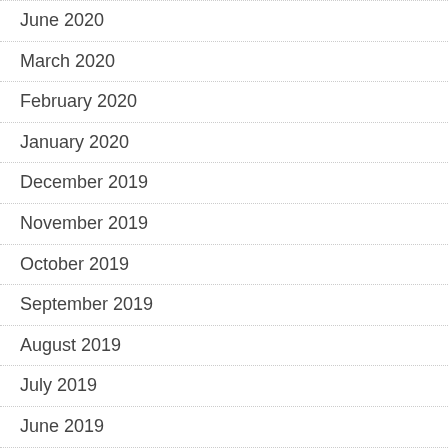June 2020
March 2020
February 2020
January 2020
December 2019
November 2019
October 2019
September 2019
August 2019
July 2019
June 2019
April 2019